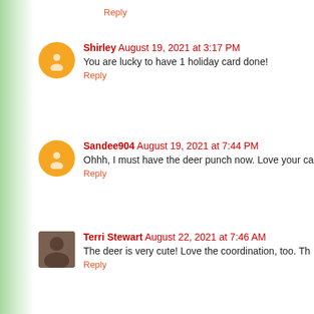Reply
Shirley August 19, 2021 at 3:17 PM
You are lucky to have 1 holiday card done!
Reply
Sandee904 August 19, 2021 at 7:44 PM
Ohhh, I must have the deer punch now. Love your ca
Reply
Terri Stewart August 22, 2021 at 7:46 AM
The deer is very cute! Love the coordination, too. Th
Reply